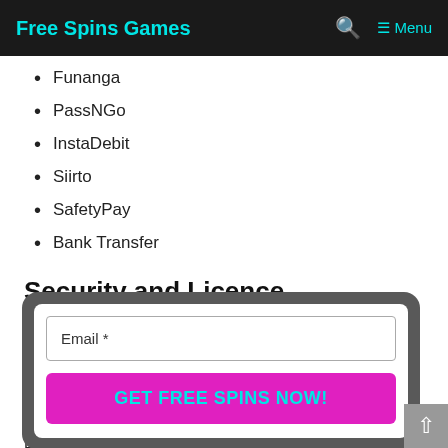Free Spins Games   🔍   ≡ Menu
Funanga
PassNGo
InstaDebit
Siirto
SafetyPay
Bank Transfer
Security and Licence
Luck… has an H… us a licen… on Com… liant with… Regu…
[Figure (other): Email signup modal with 'Email *' input field and 'GET FREE SPINS NOW!' button in magenta, overlaid on the page content with a dark gray rounded background]
[Figure (other): Scroll-to-top button (gray square with white upward arrow) at bottom right]